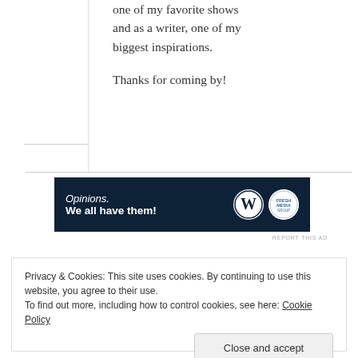one of my favorite shows and as a writer, one of my biggest inspirations.

Thanks for coming by!
[Figure (infographic): Dark navy advertisement banner with 'Opinions. We all have them!' text and WordPress W logo plus a second circular logo on the right.]
REPORT THIS AD
Privacy & Cookies: This site uses cookies. By continuing to use this website, you agree to their use.
To find out more, including how to control cookies, see here: Cookie Policy
Close and accept